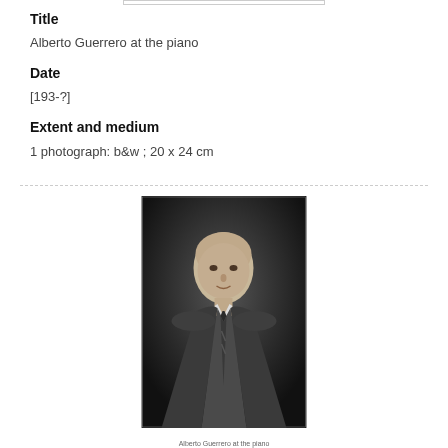Title
Alberto Guerrero at the piano
Date
[193-?]
Extent and medium
1 photograph: b&w ; 20 x 24 cm
[Figure (photo): Black and white portrait photograph of Alberto Guerrero, a bald man wearing a suit and striped tie, formal portrait style]
Alberto Guerrero at the piano